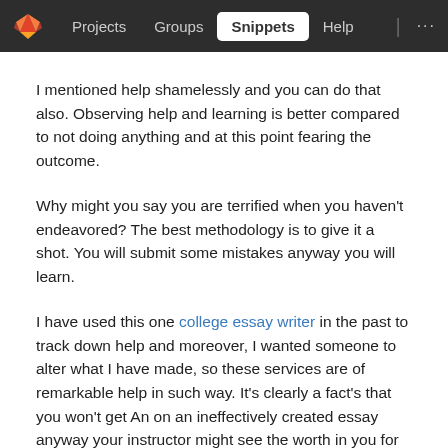Projects   Groups   Snippets   Help   ...
I mentioned help shamelessly and you can do that also. Observing help and learning is better compared to not doing anything and at this point fearing the outcome.
Why might you say you are terrified when you haven't endeavored? The best methodology is to give it a shot. You will submit some mistakes anyway you will learn.
I have used this one college essay writer in the past to track down help and moreover, I wanted someone to alter what I have made, so these services are of remarkable help in such way. It's clearly a fact's that you won't get An on an ineffectively created essay anyway your instructor might see the worth in you for at least troublesome it yourself.